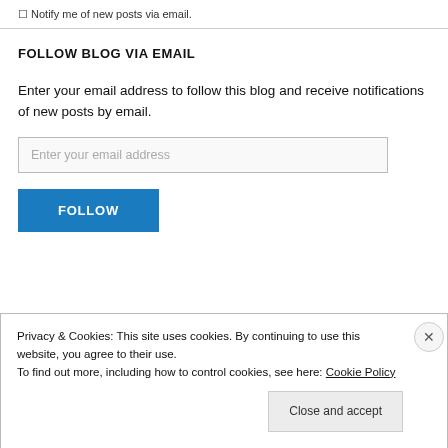☐ Notify me of new posts via email.
FOLLOW BLOG VIA EMAIL
Enter your email address to follow this blog and receive notifications of new posts by email.
Enter your email address
FOLLOW
Privacy & Cookies: This site uses cookies. By continuing to use this website, you agree to their use.
To find out more, including how to control cookies, see here: Cookie Policy
Close and accept